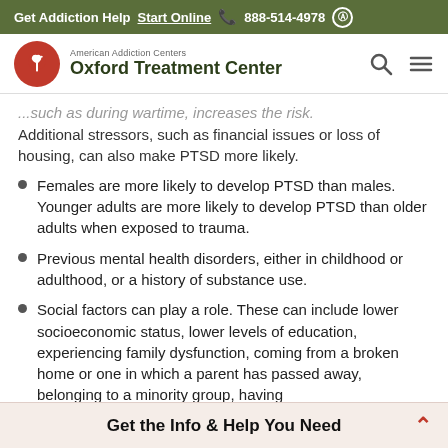Get Addiction Help  Start Online  888-514-4978
[Figure (logo): American Addiction Centers Oxford Treatment Center logo with red circle containing horse icon]
...such as during wartime, increases the risk. Additional stressors, such as financial issues or loss of housing, can also make PTSD more likely.
Females are more likely to develop PTSD than males. Younger adults are more likely to develop PTSD than older adults when exposed to trauma.
Previous mental health disorders, either in childhood or adulthood, or a history of substance use.
Social factors can play a role. These can include lower socioeconomic status, lower levels of education, experiencing family dysfunction, coming from a broken home or one in which a parent has passed away, belonging to a minority group, having
Get the Info & Help You Need